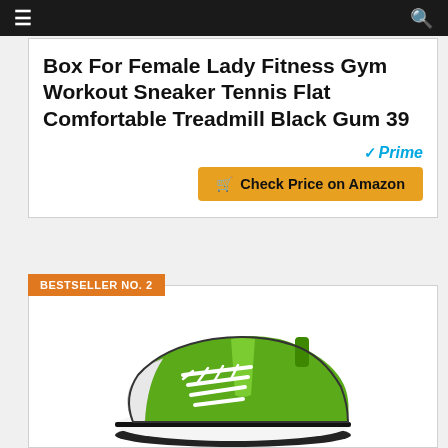≡  🔍
Box For Female Lady Fitness Gym Workout Sneaker Tennis Flat Comfortable Treadmill Black Gum 39
✓Prime
🛒 Check Price on Amazon
BESTSELLER NO. 2
[Figure (photo): Green low-top canvas sneaker with white laces and white/black sole, photographed on white background]